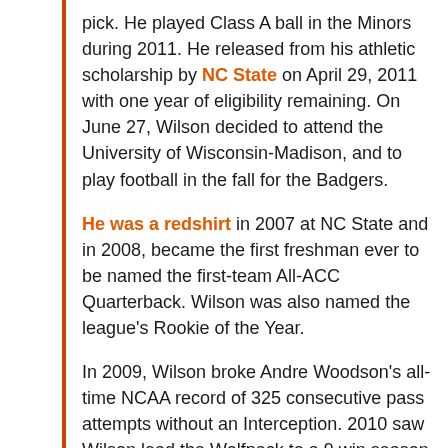pick. He played Class A ball in the Minors during 2011. He released from his athletic scholarship by NC State on April 29, 2011 with one year of eligibility remaining. On June 27, Wilson decided to attend the University of Wisconsin-Madison, and to play football in the fall for the Badgers.
He was a redshirt in 2007 at NC State and in 2008, became the first freshman ever to be named the first-team All-ACC Quarterback. Wilson was also named the league's Rookie of the Year.
In 2009, Wilson broke Andre Woodson's all-time NCAA record of 325 consecutive pass attempts without an Interception. 2010 saw Wilson lead the Wolfpack to a 9 win season (9–4), including a win over the West Virginia Mountaineers in the 2010 Champs Sports Bowl. Russell led the Atlantic Coast